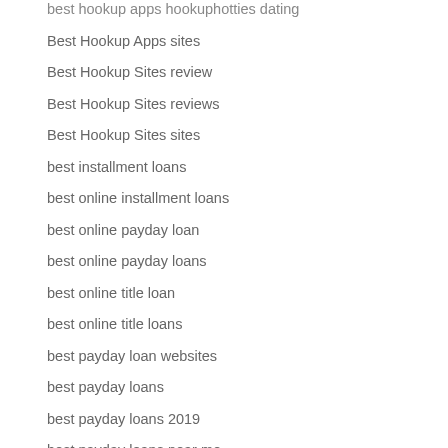best hookup apps hookuphotties dating
Best Hookup Apps sites
Best Hookup Sites review
Best Hookup Sites reviews
Best Hookup Sites sites
best installment loans
best online installment loans
best online payday loan
best online payday loans
best online title loan
best online title loans
best payday loan websites
best payday loans
best payday loans 2019
best payday loans near me